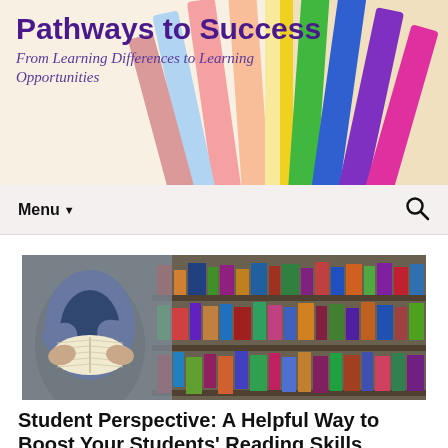[Figure (screenshot): Website header banner with colored pencils background image. Purple/dark purple bold title 'Pathways to Success' and italic subtitle 'From Learning Differences to Learning Opportunities' overlaid on the pencils photo.]
Pathways to Success
From Learning Differences to Learning Opportunities
Menu ▼
[Figure (photo): A student in a denim jacket standing in a library, holding and reading an open book, with bookshelves full of colorful books in the background.]
Student Perspective: A Helpful Way to Boost Your Students' Reading Skills